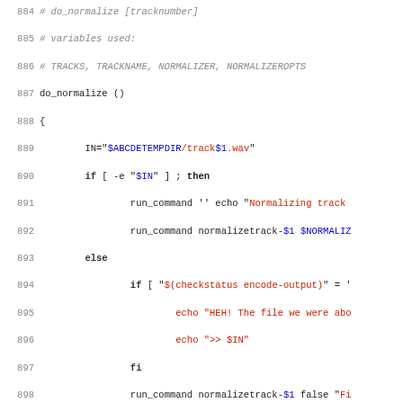[Figure (screenshot): Source code listing showing shell script functions do_normalize and do_move, lines 884-915, with syntax highlighting: comments in gray italic, keywords in black bold, strings in red, variables in blue.]